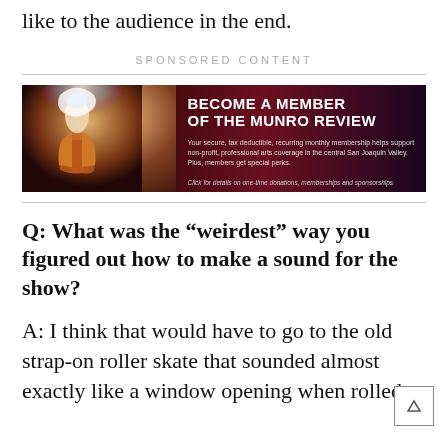like to the audience in the end.
SPONSORED CONTENT
[Figure (illustration): Advertisement banner for The Munro Review membership featuring a performer in elaborate costume with the text 'BECOME A MEMBER of The Munro Review'. Text describes tax-deductible recurring monthly membership supporting non-profit professional arts coverage in the central San Joaquin Valley, plus special perks. Link for donations, memberships and sponsorships.]
Q: What was the “weirdest” way you figured out how to make a sound for the show?
A: I think that would have to go to the old strap-on roller skate that sounded almost exactly like a window opening when rolled